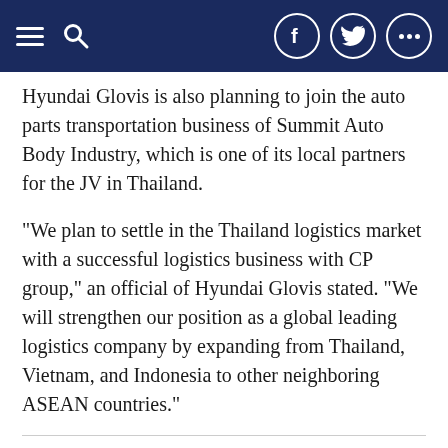Navigation bar with menu, search, Facebook, Twitter, and share icons
Hyundai Glovis is also planning to join the auto parts transportation business of Summit Auto Body Industry, which is one of its local partners for the JV in Thailand.
"We plan to settle in the Thailand logistics market with a successful logistics business with CP group," an official of Hyundai Glovis stated. "We will strengthen our position as a global leading logistics company by expanding from Thailand, Vietnam, and Indonesia to other neighboring ASEAN countries."
Related Stories
From launching S. Korea's historic first private satellite